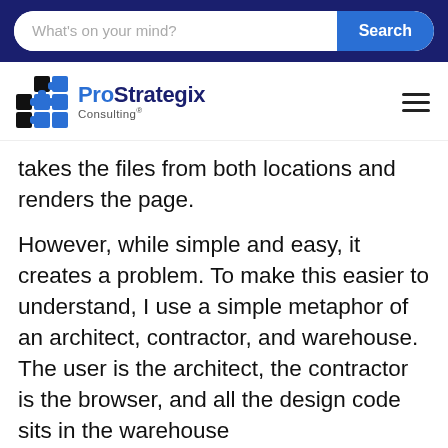What's on your mind? Search
[Figure (logo): ProStrategix Consulting logo with puzzle piece icon in blue and black]
takes the files from both locations and renders the page.
However, while simple and easy, it creates a problem. To make this easier to understand, I use a simple metaphor of an architect, contractor, and warehouse. The user is the architect, the contractor is the browser, and all the design code sits in the warehouse
In this metaphor, we are going to use a prefabricated home. There are a general set